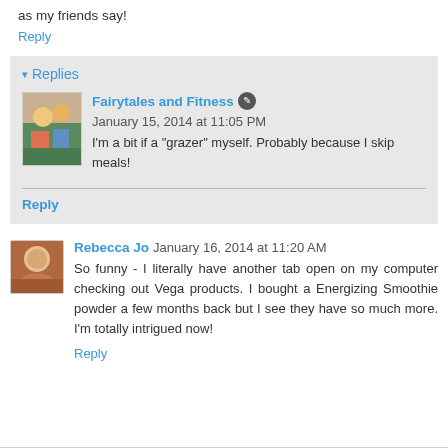as my friends say!
Reply
▾ Replies
Fairytales and Fitness ✎ January 15, 2014 at 11:05 PM
I'm a bit if a "grazer" myself. Probably because I skip meals!
Reply
Rebecca Jo  January 16, 2014 at 11:20 AM
So funny - I literally have another tab open on my computer checking out Vega products. I bought a Energizing Smoothie powder a few months back but I see they have so much more. I'm totally intrigued now!
Reply